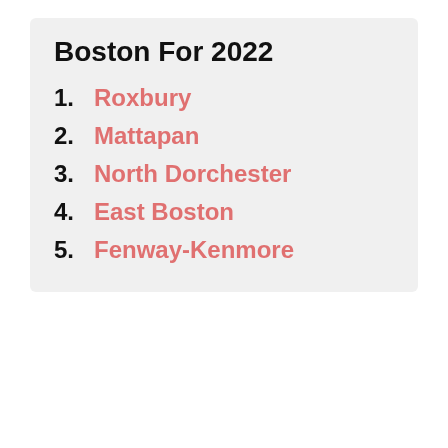Boston For 2022
1. Roxbury
2. Mattapan
3. North Dorchester
4. East Boston
5. Fenway-Kenmore